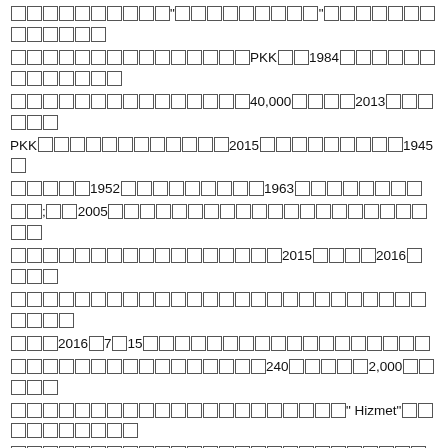Mixed script text containing references to PKK (1984), 40,000 casualties (2013), PKK (2015), 1945, 1952, 1963, 2005, 2015, 2016, 2016年7月15日, 240, 2,000, Hizmet, Gulen, 130,000, 2016年7月 to 2018年7月 — text contains East Asian / non-Latin characters rendered as replacement boxes.